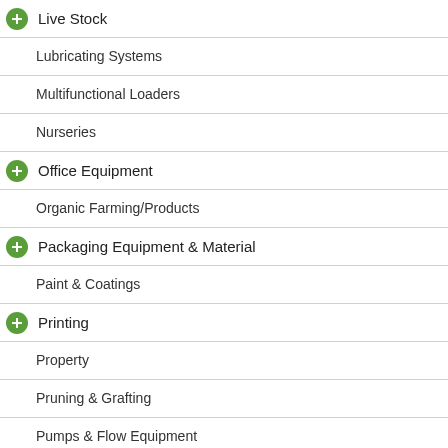Live Stock
Lubricating Systems
Multifunctional Loaders
Nurseries
Office Equipment
Organic Farming/Products
Packaging Equipment & Material
Paint & Coatings
Printing
Property
Pruning & Grafting
Pumps & Flow Equipment
Quality Assurance
Recycling
Sanitation
Second Hand Machinery
Seed